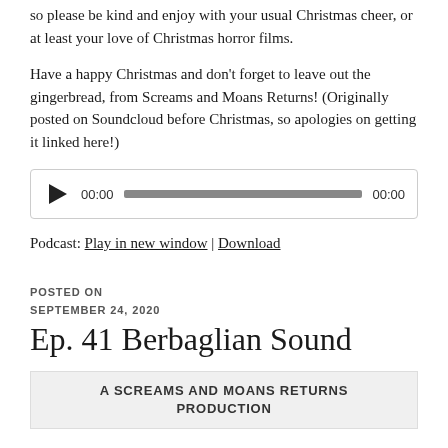so please be kind and enjoy with your usual Christmas cheer, or at least your love of Christmas horror films.
Have a happy Christmas and don't forget to leave out the gingerbread, from Screams and Moans Returns! (Originally posted on Soundcloud before Christmas, so apologies on getting it linked here!)
[Figure (other): Audio player with play button, current time 00:00, progress bar, and duration 00:00]
Podcast: Play in new window | Download
POSTED ON
SEPTEMBER 24, 2020
Ep. 41 Berbaglian Sound
[Figure (other): Thumbnail box with text: A SCREAMS AND MOANS RETURNS PRODUCTION]